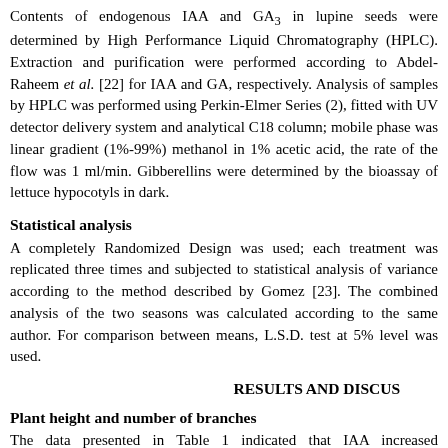Contents of endogenous IAA and GA3 in lupine seeds were determined by HPLC (High Performance Liquid Chromatography (HPLC). Extraction and purification were performed according to Abdel-Raheem et al. [22] for IAA and GA, respectively. Analysis of samples by HPLC was performed using Perkin-Elmer Series (2), fitted with UV detector delivery system and analytical C18 column; mobile phase was linear gradient (1%-99%) methanol in 1% acetic acid, the rate of the flow was 1 ml/min. Gibberellins were determined by the bioassay of lettuce hypocotyls in dark.
Statistical analysis
A completely Randomized Design was used; each treatment was replicated three times and subjected to statistical analysis of variance according to the method described by Gomez [23]. The combined analysis of the two seasons was calculated according to the same author. For comparison between means, L.S.D. test at 5% level was used.
RESULTS AND DISCUSSION
Plant height and number of branches
The data presented in Table 1 indicated that IAA increased significantly the plant height. The tallest plant was recorded with 200 mg·dcm-3 of IAA. The auxin IAA is known to promote cell elongation, due to greater osmotic uptake of water which results in increase in cell turgor pressure or both. On the other hand, NAA and kinetin at 100 mg·dcm-3 also increased the plant height.
Concerning the effect of the three growth regulators tested on number of branches, data revealed that IAA induced a lowest increment in most cases for the branches number. Regarding the effect of NAA the data in Fig. 1 showed no significant differences in branches number.